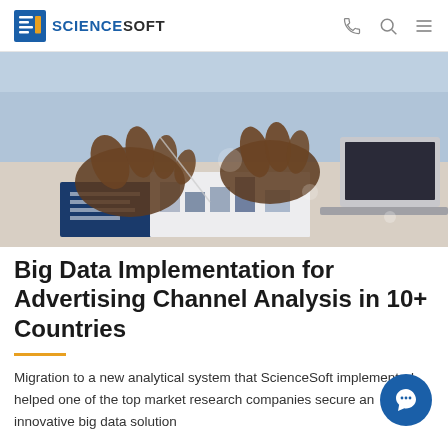ScienceSoft
[Figure (photo): Hands of a person pointing at printed data charts and graphs on a desk, with a laptop in the background — business analytics context]
Big Data Implementation for Advertising Channel Analysis in 10+ Countries
Migration to a new analytical system that ScienceSoft implemented helped one of the top market research companies secure an innovative big data solution